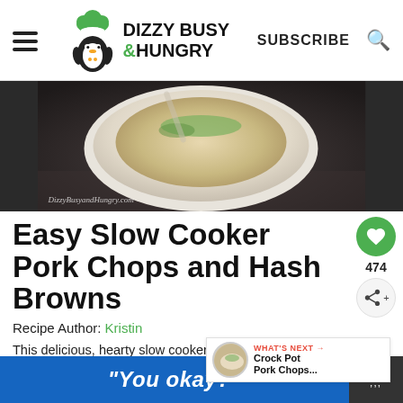Dizzy Busy & Hungry — SUBSCRIBE
[Figure (photo): Bowl of slow cooker pork chops and hash browns on dark background with watermark DizzyBusyandHungry.com]
Easy Slow Cooker Pork Chops and Hash Browns
Recipe Author: Kristin
This delicious, hearty slow cooker dish has a spicy kick to it and is so easy to prepare
5 from 10 votes
WHAT'S NEXT → Crock Pot Pork Chops...
"You okay?"